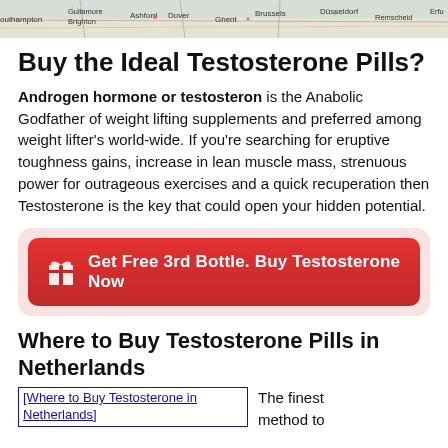[Figure (map): Map strip showing European cities: Southampton, Brighton, Ashford, Dover, Ghent, Brussels, Düsseldorf, Remscheid, Erfurt]
Buy the Ideal Testosterone Pills?
Androgen hormone or testosteron is the Anabolic Godfather of weight lifting supplements and preferred among weight lifter's world-wide. If you're searching for eruptive toughness gains, increase in lean muscle mass, strenuous power for outrageous exercises and a quick recuperation then Testosterone is the key that could open your hidden potential.
[Figure (infographic): Red CTA button with gift icon: Get Free 3rd Bottle. Buy Testosterone Now]
Where to Buy Testosterone Pills in Netherlands
[Figure (illustration): Where to Buy Testosterone in Netherlands (broken image placeholder with link text)]
The finest method to